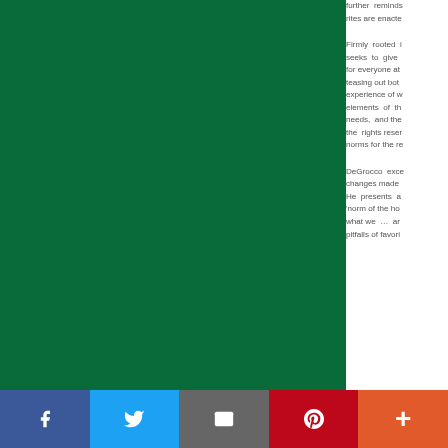[Figure (other): Large dark green rectangular block occupying the left portion of the page]
further reminds rites are enacte
Firmly rooted i seeks to give for everyone at teasing out both experience of w elements of th needs, and the the rights reser norms for the re
DeGrocco exce changes made He presents a 'norm of the ho what we … ar pitfalls of favori
[Figure (other): Social media sharing bar at bottom with Facebook, Twitter, Email, Pinterest, and More buttons]